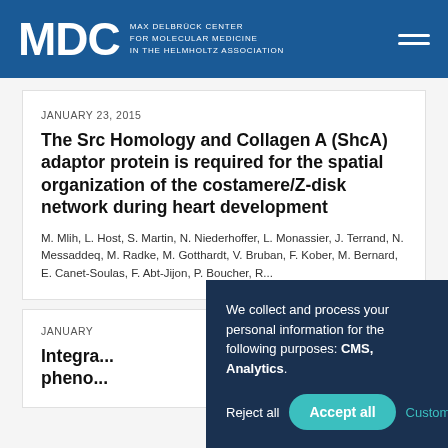MDC MAX DELBRÜCK CENTER FOR MOLECULAR MEDICINE IN THE HELMHOLTZ ASSOCIATION
JANUARY 23, 2015
The Src Homology and Collagen A (ShcA) adaptor protein is required for the spatial organization of the costamere/Z-disk network during heart development
M. Mlih, L. Host, S. Martin, N. Niederhoffer, L. Monassier, J. Terrand, N. Messaddeq, M. Radke, M. Gotthardt, V. Bruban, F. Kober, M. Bernard, E. Canet-Soulas, F. Abt-Jijon, P. Boucher, R...
JANUARY...
Integra... pheno...
We collect and process your personal information for the following purposes: CMS, Analytics.